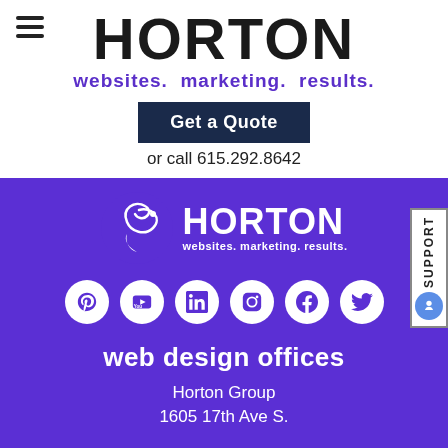[Figure (logo): Horton Group logo with hamburger menu icon - white background header area]
HORTON
websites. marketing. results.
Get a Quote
or call 615.292.8642
[Figure (logo): Horton Group logo on purple background with bird/swirl icon and text 'websites. marketing. results.']
[Figure (infographic): Row of 6 white social media icons on purple background: Pinterest, YouTube, LinkedIn, Instagram, Facebook, Twitter]
web design offices
Horton Group
1605 17th Ave S.